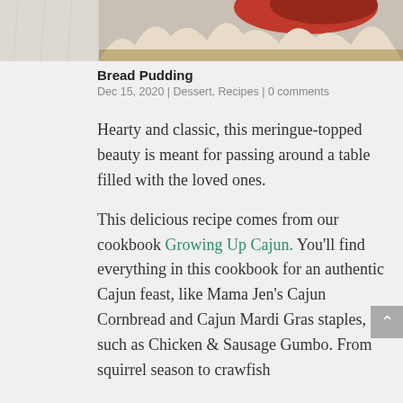[Figure (photo): Top portion of a food photo showing a bread pudding dish with meringue topping, partially cropped at the top of the page]
Bread Pudding
Dec 15, 2020 | Dessert, Recipes | 0 comments
Hearty and classic, this meringue-topped beauty is meant for passing around a table filled with the loved ones.
This delicious recipe comes from our cookbook Growing Up Cajun. You'll find everything in this cookbook for an authentic Cajun feast, like Mama Jen's Cajun Cornbread and Cajun Mardi Gras staples, such as Chicken & Sausage Gumbo. From squirrel season to crawfish